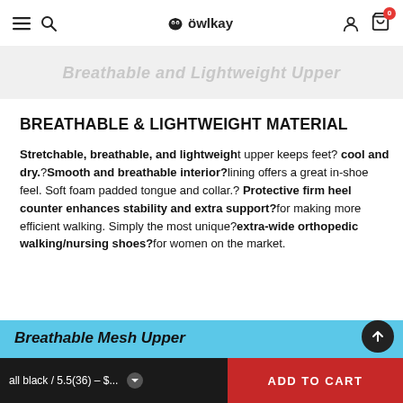owlkay — navigation bar with menu, search, account, and cart icons
[Figure (screenshot): Partial banner image with italic text 'Breathable and Lightweight Upper' faded/cut off at the top]
BREATHABLE & LIGHTWEIGHT MATERIAL
Stretchable, breathable, and lightweight upper keeps feet? cool and dry.?Smooth and breathable interior?lining offers a great in-shoe feel. Soft foam padded tongue and collar.? Protective firm heel counter enhances stability and extra support?for making more efficient walking. Simply the most unique?extra-wide orthopedic walking/nursing shoes?for women on the market.
[Figure (photo): Light blue background product image area showing 'Breathable Mesh Upper' text in bold italic and a white cloud/shoe element at the bottom]
all black / 5.5(36) – $...  ADD TO CART